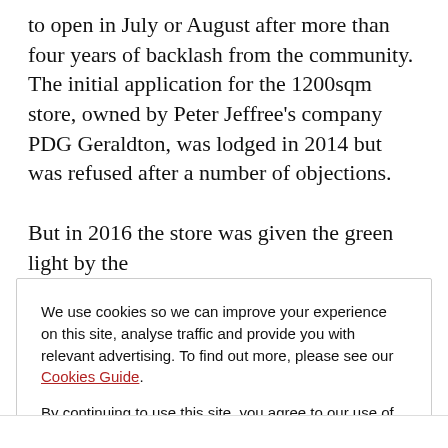to open in July or August after more than four years of backlash from the community. The initial application for the 1200sqm store, owned by Peter Jeffree's company PDG Geraldton, was lodged in 2014 but was refused after a number of objections.
But in 2016 the store was given the green light by the
We use cookies so we can improve your experience on this site, analyse traffic and provide you with relevant advertising. To find out more, please see our Cookies Guide.

By continuing to use this site, you agree to our use of cookies.